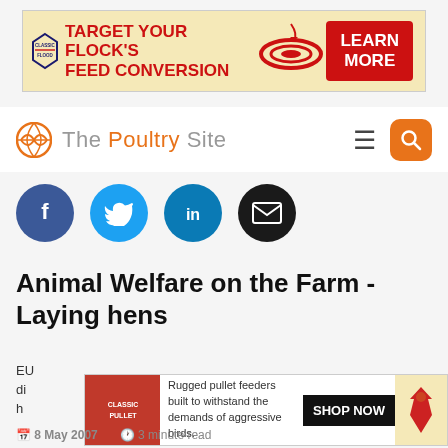[Figure (infographic): Classic Flood advertisement banner: TARGET YOUR FLOCK'S FEED CONVERSION with LEARN MORE button]
[Figure (logo): The Poultry Site navigation bar with logo, hamburger menu, and search button]
[Figure (infographic): Social sharing icons: Facebook (blue), Twitter (light blue), LinkedIn (blue), Email (black)]
Animal Welfare on the Farm - Laying hens
EU...di...h...
[Figure (infographic): Classic Pullet advertisement: Rugged pullet feeders built to withstand the demands of aggressive birds. SHOP NOW]
8 May 2007   3 minute read